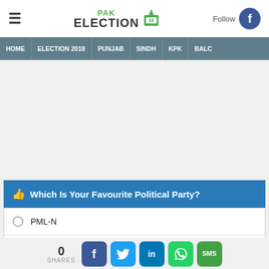PAK ELECTION | Follow
HOME | ELECTION 2018 | PUNJAB | SINDH | KPK | BALC
[Advertisement area]
Which Is Your Favourite Political Party?
PML-N
PTI
PPP
0 SHARES